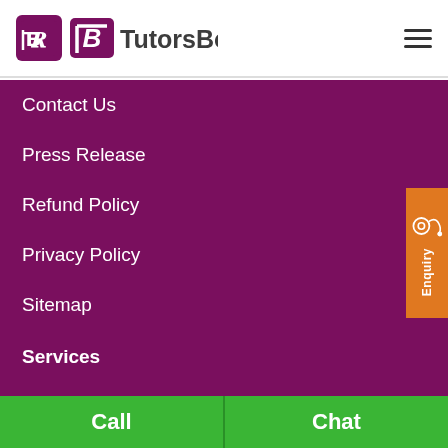[Figure (logo): TutorsBot logo with purple square icon containing a stylized T/B letter mark and TutorsBot wordmark in dark text]
Contact Us
Press Release
Refund Policy
Privacy Policy
Sitemap
Services
Training Courses
Managed Learning Services
Master Courses
Enquiry
Call  Chat